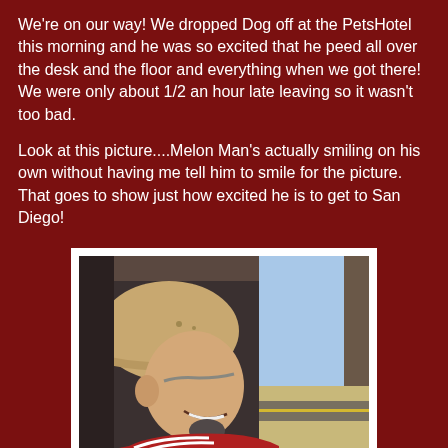We're on our way! We dropped Dog off at the PetsHotel this morning and he was so excited that he peed all over the desk and the floor and everything when we got there! We were only about 1/2 an hour late leaving so it wasn't too bad.
Look at this picture....Melon Man's actually smiling on his own without having me tell him to smile for the picture. That goes to show just how excited he is to get to San Diego!
[Figure (photo): A man wearing a tan baseball cap and glasses, smiling, seen from the side while sitting in a car. He is wearing a red and white striped shirt. The car window shows a desert highway scene outside.]